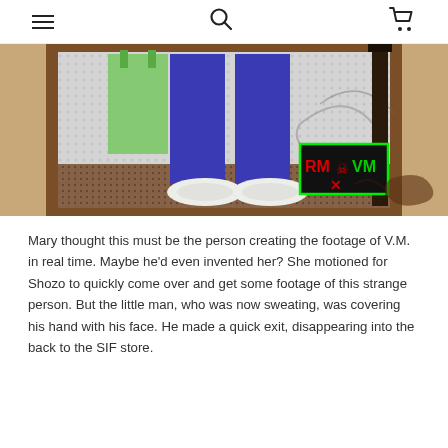☰  🔍  🛒
[Figure (illustration): Animated/comic-style illustration showing the lower half of a figure wearing blue trousers and white shoes, standing in front of a framed artwork. A green bag is visible on the left. A dark lamppost is on the right. The background has a halftone dot pattern suggesting a pop-art scene. In the lower right corner is a green-outlined logo box with red and green text reading 'RM VM' and a skull/crossbones icon.]
Mary thought this must be the person creating the footage of V.M. in real time. Maybe he'd even invented her? She motioned for Shozo to quickly come over and get some footage of this strange person. But the little man, who was now sweating, was covering his hand with his face. He made a quick exit, disappearing into the back to the SIF store.